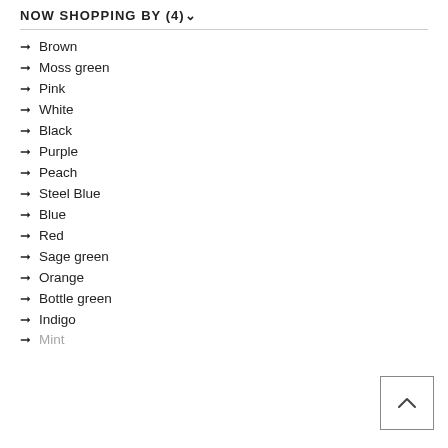NOW SHOPPING BY (4)
Brown
Moss green
Pink
White
Black
Purple
Peach
Steel Blue
Blue
Red
Sage green
Orange
Bottle green
Indigo
Mint